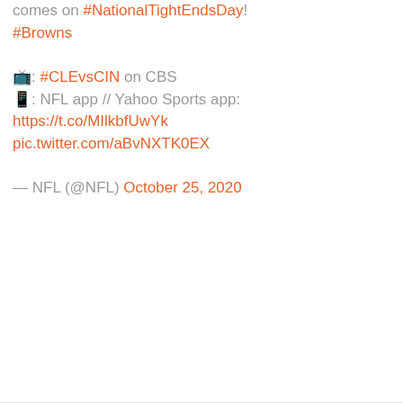comes on #NationalTightEndsDay! #Browns

📺: #CLEvsCIN on CBS
📱: NFL app // Yahoo Sports app: https://t.co/MIlkbfUwYk
pic.twitter.com/aBvNXTK0EX

— NFL (@NFL) October 25, 2020